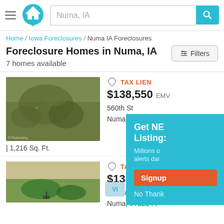Numa, IA — search bar and logo header
Home / Iowa Foreclosures / Numa IA Foreclosures
Foreclosure Homes in Numa, IA
7 homes available
[Figure (photo): Aerial/satellite view of land parcel at 560th St, Numa IA 52544]
TAX LIEN
$138,550 EMV
560th St
Numa, IA 52544
| 1,216 Sq. Ft.
[Figure (photo): Aerial/satellite view of land parcel at Highway J46, Numa IA 52544]
TAX LIEN
$138,550 EMV
Highway J46
Numa, IA 52544
Get NEW Listings!
Millions of alerts daily
Signup
No Thanks